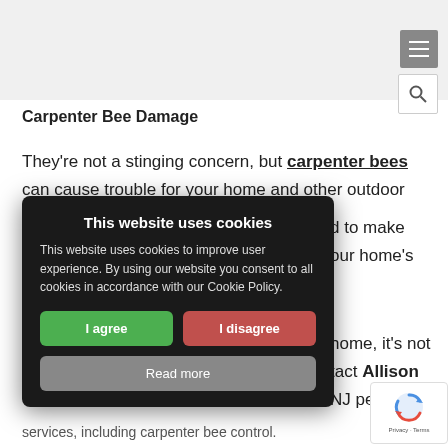threatening. They do this to protect their nests.
Allison Pest Control – Since 1917
Carpenter Bee Damage
They're not a stinging concern, but carpenter bees can cause trouble for your home and other outdoor structures.
d to make our home's
[Figure (screenshot): Cookie consent modal dialog on dark background with title 'This website uses cookies', body text, 'I agree' (green), 'I disagree' (red), and 'Read more' (gray) buttons]
home, it's not tact Allison NJ pest c
services, including carpenter bee control.
[Figure (logo): Google reCAPTCHA badge with spinning arrows logo and 'Privacy · Terms' text]